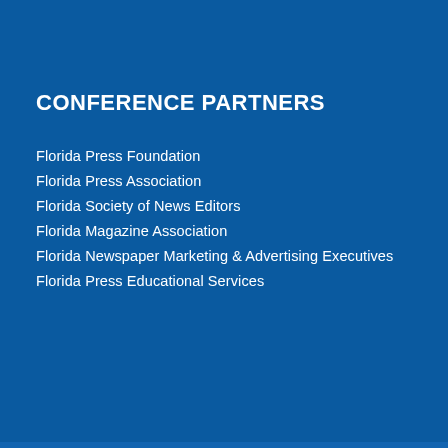CONFERENCE PARTNERS
Florida Press Foundation
Florida Press Association
Florida Society of News Editors
Florida Magazine Association
Florida Newspaper Marketing & Advertising Executives
Florida Press Educational Services